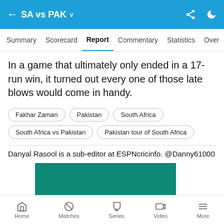SA vs PAK
Summary  Scorecard  Report  Commentary  Statistics  Over
In a game that ultimately only ended in a 17-run win, it turned out every one of those late blows would come in handy.
Fakhar Zaman
Pakistan
South Africa
South Africa vs Pakistan
Pakistan tour of South Africa
Danyal Rasool is a sub-editor at ESPNcricinfo. @Danny61000
[Figure (other): Teal/green promotional or advertisement block]
Home  Matches  Series  Video  More